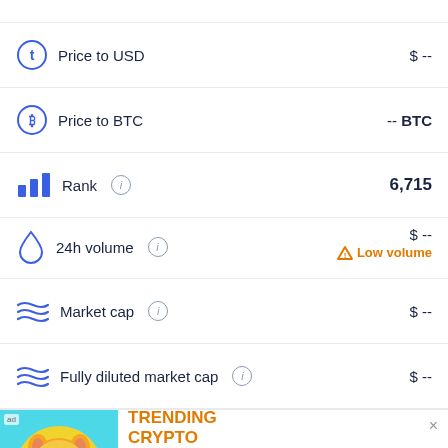Price to USD  $ --
Price to BTC  -- BTC
Rank  6,715
24h volume  $ -- Low volume
Market cap  $ --
Fully diluted market cap  $ --
[Figure (infographic): Cryptocurrency advertisement banner: Tamadoge coin image with dog and rising chart arrow on teal background. Orange text: TOP TRENDING CRYPTO. Description: Tamadoge - Tamadoge raises $500k in last 24 hours. Orange INVEST NOW button. Close X button.]